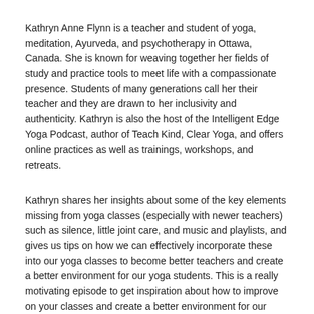Kathryn Anne Flynn is a teacher and student of yoga, meditation, Ayurveda, and psychotherapy in Ottawa, Canada. She is known for weaving together her fields of study and practice tools to meet life with a compassionate presence. Students of many generations call her their teacher and they are drawn to her inclusivity and authenticity. Kathryn is also the host of the Intelligent Edge Yoga Podcast, author of Teach Kind, Clear Yoga, and offers online practices as well as trainings, workshops, and retreats.
Kathryn shares her insights about some of the key elements missing from yoga classes (especially with newer teachers) such as silence, little joint care, and music and playlists, and gives us tips on how we can effectively incorporate these into our yoga classes to become better teachers and create a better environment for our yoga students. This is a really motivating episode to get inspiration about how to improve on your classes and create a better environment for our yoga students.
Key Takeaways:
[0:00] Shannon addresses the recent US Supreme Court decision to overturn Roe v Wade.